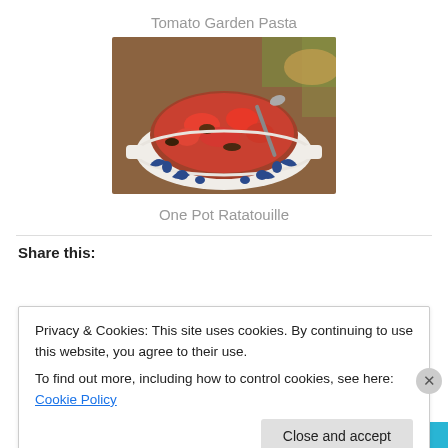Tomato Garden Pasta
[Figure (photo): A ceramic bowl with blue floral decoration filled with ratatouille dish — tomatoes, peppers and vegetables — with a spoon, on a wooden surface.]
One Pot Ratatouille
Share this:
Privacy & Cookies: This site uses cookies. By continuing to use this website, you agree to their use.
To find out more, including how to control cookies, see here: Cookie Policy
Close and accept